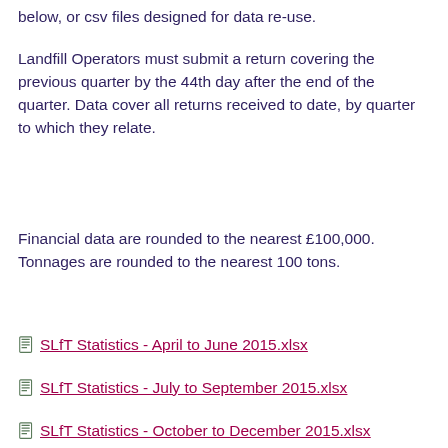below, or csv files designed for data re-use.
Landfill Operators must submit a return covering the previous quarter by the 44th day after the end of the quarter. Data cover all returns received to date, by quarter to which they relate.
Financial data are rounded to the nearest £100,000. Tonnages are rounded to the nearest 100 tons.
SLfT Statistics - April to June 2015.xlsx
SLfT Statistics - July to September 2015.xlsx
SLfT Statistics - October to December 2015.xlsx